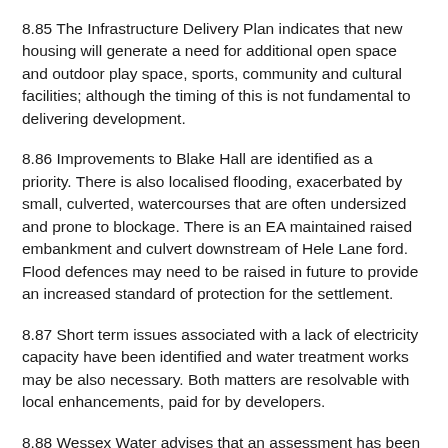8.85 The Infrastructure Delivery Plan indicates that new housing will generate a need for additional open space and outdoor play space, sports, community and cultural facilities; although the timing of this is not fundamental to delivering development.
8.86 Improvements to Blake Hall are identified as a priority. There is also localised flooding, exacerbated by small, culverted, watercourses that are often undersized and prone to blockage. There is an EA maintained raised embankment and culvert downstream of Hele Lane ford. Flood defences may need to be raised in future to provide an increased standard of protection for the settlement.
8.87 Short term issues associated with a lack of electricity capacity have been identified and water treatment works may be also necessary. Both matters are resolvable with local enhancements, paid for by developers.
8.88 Wessex Water advises that an assessment has been